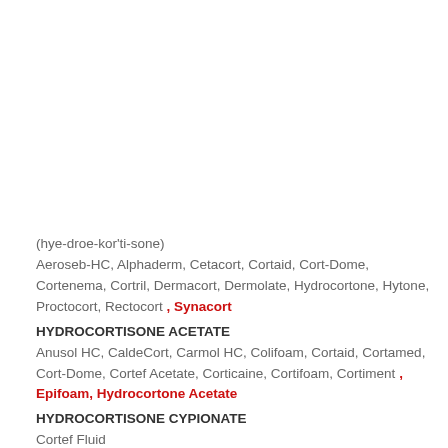(hye-droe-kor'ti-sone)
Aeroseb-HC, Alphaderm, Cetacort, Cortaid, Cort-Dome, Cortenema, Cortril, Dermacort, Dermolate, Hydrocortone, Hytone, Proctocort, Rectocort , Synacort
HYDROCORTISONE ACETATE
Anusol HC, CaldeCort, Carmol HC, Colifoam, Cortaid, Cortamed, Cort-Dome, Cortef Acetate, Corticaine, Cortifoam, Cortiment , Epifoam, Hydrocortone Acetate
HYDROCORTISONE CYPIONATE
Cortef Fluid